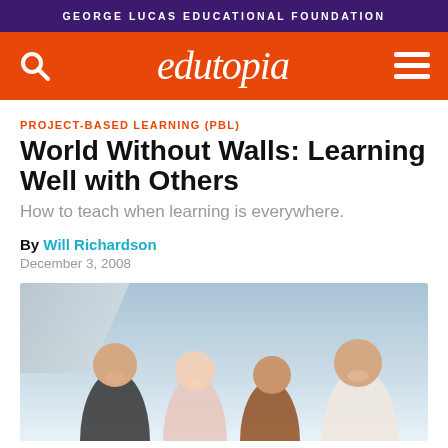GEORGE LUCAS EDUCATIONAL FOUNDATION
[Figure (logo): Edutopia orange navigation bar with search icon on left, edutopia logo in center, hamburger menu on right]
PROJECT-BASED LEARNING (PBL)
World Without Walls: Learning Well with Others
How to teach when learning is everywhere.
By Will Richardson
December 3, 2008
[Figure (photo): Four smiling students outdoors, photographed from a low angle against a light blue sky]